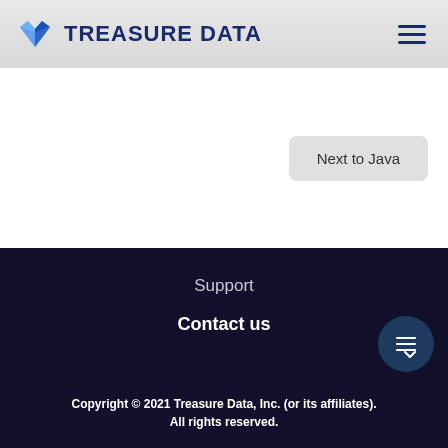TREASURE DATA
Next to Java
Support
Contact us
Copyright © 2021 Treasure Data, Inc. (or its affiliates). All rights reserved.